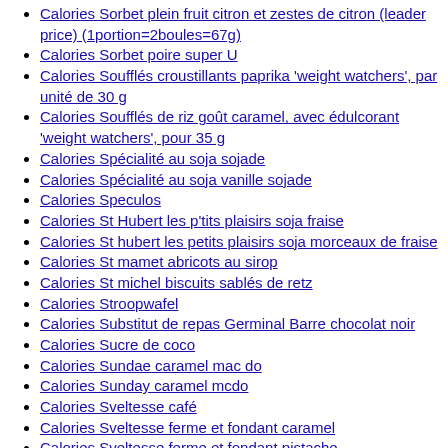Calories Sorbet plein fruit citron et zestes de citron (leader price) (1portion=2boules=67g)
Calories Sorbet poire super U
Calories Soufflés croustillants paprika 'weight watchers', par unité de 30 g
Calories Soufflés de riz goût caramel, avec édulcorant 'weight watchers', pour 35 g
Calories Spécialité au soja sojade
Calories Spécialité au soja vanille sojade
Calories Speculos
Calories St Hubert les p'tits plaisirs soja fraise
Calories St hubert les petits plaisirs soja morceaux de fraise
Calories St mamet abricots au sirop
Calories St michel biscuits sablés de retz
Calories Stroopwafel
Calories Substitut de repas Germinal Barre chocolat noir
Calories Sucre de coco
Calories Sundae caramel mac do
Calories Sunday caramel mcdo
Calories Sveltesse café
Calories Sveltesse ferme et fondant caramel
Calories Sveltesse ferme et fondant pistache